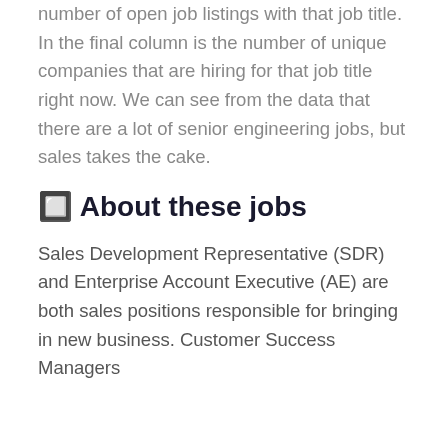number of open job listings with that job title. In the final column is the number of unique companies that are hiring for that job title right now. We can see from the data that there are a lot of senior engineering jobs, but sales takes the cake.
🔲 About these jobs
Sales Development Representative (SDR) and Enterprise Account Executive (AE) are both sales positions responsible for bringing in new business. Customer Success Managers